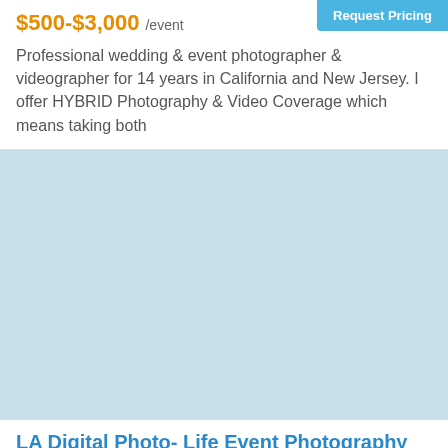$500-$3,000 /event
Professional wedding & event photographer & videographer for 14 years in California and New Jersey. I offer HYBRID Photography & Video Coverage which means taking both
[Figure (photo): Light blue placeholder image for vendor listing photo]
LA Digital Photo- Life Event Photography by Tom ...
14 miles from Hacienda Heights, CA
1
Request Pricing